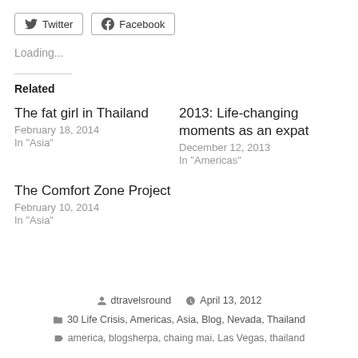Twitter  Facebook
Loading...
Related
The fat girl in Thailand
February 18, 2014
In "Asia"
2013: Life-changing moments as an expat
December 12, 2013
In "Americas"
The Comfort Zone Project
February 10, 2014
In "Asia"
dtravelsround  April 13, 2012
30 Life Crisis, Americas, Asia, Blog, Nevada, Thailand
america, blogsherpa, chaing mai, Las Vegas, thailand